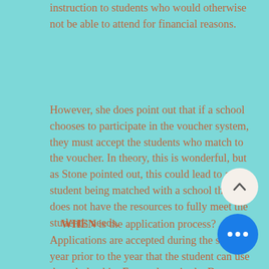instruction to students who would otherwise not be able to attend for financial reasons.
However, she does point out that if a school chooses to participate in the voucher system, they must accept the students who match to the voucher. In theory, this is wonderful, but as Stone pointed out, this could lead to a student being matched with a school that does not have the resources to fully meet the student's needs.
WHEN is the application process? Applications are accepted during the school year prior to the year that the student can use the scholarship. For students in the Baton Rouge area, the application process opens January